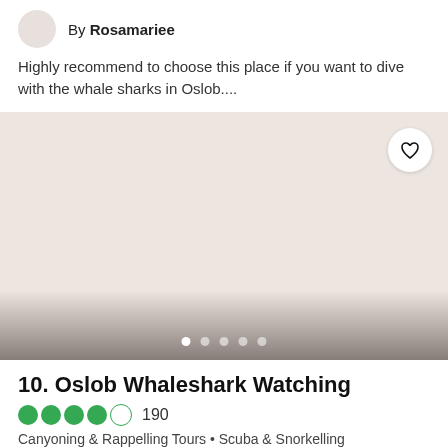By Rosamariee
Highly recommend to choose this place if you want to dive with the whale sharks in Oslob....
[Figure (photo): Image card placeholder with light pinkish-beige background, heart/favorite button in top right corner, and carousel navigation dots at bottom]
10. Oslob Whaleshark Watching
190
Canyoning & Rappelling Tours • Scuba & Snorkelling